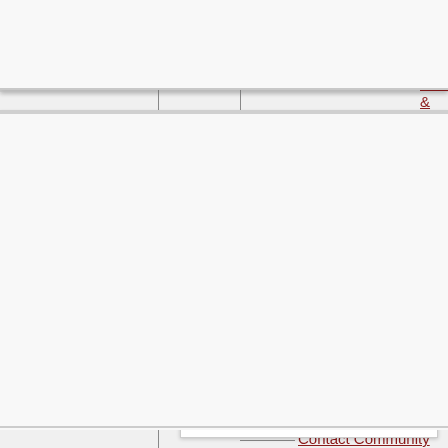Stormwater Management
Stormwater Facts & Websites
Storm Sewers
Stormwater Management Plan (PDF)
Stormwater Regulation
What Can You Do?
Street Lights
Street Maintenance & Road Construction
Report A Street Issue
Contact Community Development
Economic Development
Finance
Financial Reporti…